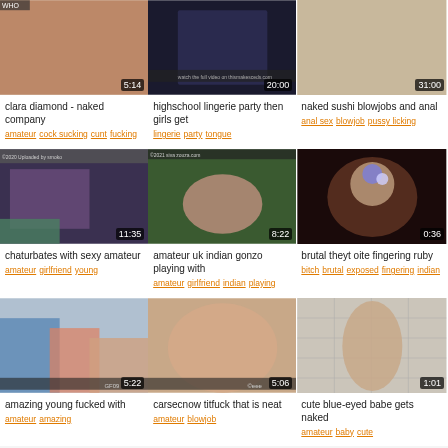[Figure (photo): Video thumbnail - clara diamond naked company, duration 5:14]
clara diamond - naked company
amateur  cock sucking  cunt  fucking
[Figure (photo): Video thumbnail - highschool lingerie party then girls get, duration 20:00]
highschool lingerie party then girls get
lingerie  party  tongue
[Figure (photo): Video thumbnail - naked sushi blowjobs and anal, duration 31:00]
naked sushi blowjobs and anal
anal sex  blowjob  pussy licking
[Figure (photo): Video thumbnail - chaturbates with sexy amateur, duration 11:35]
chaturbates with sexy amateur
amateur  girlfriend  young
[Figure (photo): Video thumbnail - amateur uk indian gonzo playing with, duration 8:22]
amateur uk indian gonzo playing with
amateur  girlfriend  indian  playing
[Figure (photo): Video thumbnail - brutal theyt oite fingering ruby, duration 0:36]
brutal theyt oite fingering ruby
bitch  brutal  exposed  fingering  indian
[Figure (photo): Video thumbnail - amazing young fucked with, duration 5:22]
amazing young fucked with
amateur  amazing
[Figure (photo): Video thumbnail - carsecnow titfuck that is neat, duration 5:06]
carsecnow titfuck that is neat
amateur  blowjob
[Figure (photo): Video thumbnail - cute blue-eyed babe gets naked, duration 1:01]
cute blue-eyed babe gets naked
amateur  baby  cute